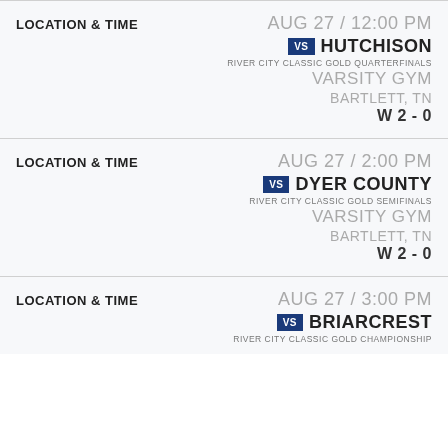LOCATION & TIME
AUG 27 / 12:00 PM
VS HUTCHISON
RIVER CITY CLASSIC GOLD QUARTERFINALS
VARSITY GYM
BARTLETT, TN
W 2 - 0
LOCATION & TIME
AUG 27 / 2:00 PM
VS DYER COUNTY
RIVER CITY CLASSIC GOLD SEMIFINALS
VARSITY GYM
BARTLETT, TN
W 2 - 0
LOCATION & TIME
AUG 27 / 3:00 PM
VS BRIARCREST
RIVER CITY CLASSIC GOLD CHAMPIONSHIP